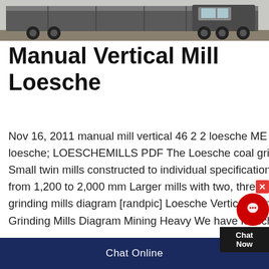[Figure (photo): Top portion of a heavy-duty truck or mining vehicle, showing dark cab and tires against a light background.]
Manual Vertical Mill Loesche
Nov 16, 2011 manual mill vertical 46 2 2 loesche ME Mining Machinery manual mill vertical 46 2 2 loesche; LOESCHEMILLS PDF The Loesche coal grinding mill range is divided into two serial types: Small twin mills constructed to individual specifications (LM 122 D to LM 202 D), with table diameters from 1,200 to 2,000 mm Larger mills with two, three and four rollers and modular strucloesche vertical grinding mills diagram [randpic] Loesche Vertical Grinding Mill Roller Parts Drawing Loesche Vertical Grinding Mills Diagram Mining Heavy We have loesche vertical
Chat Online